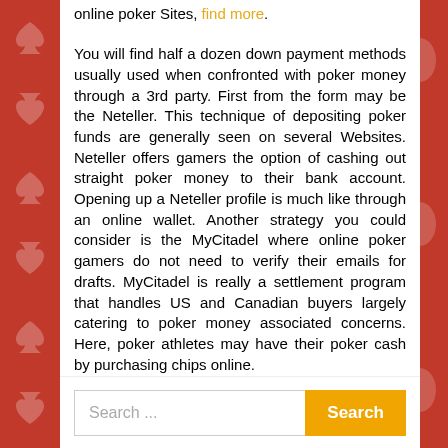online poker Sites, find more.
You will find half a dozen down payment methods usually used when confronted with poker money through a 3rd party. First from the form may be the Neteller. This technique of depositing poker funds are generally seen on several Websites. Neteller offers gamers the option of cashing out straight poker money to their bank account. Opening up a Neteller profile is much like through an online wallet. Another strategy you could consider is the MyCitadel where online poker gamers do not need to verify their emails for drafts. MyCitadel is really a settlement program that handles US and Canadian buyers largely catering to poker money associated concerns. Here, poker athletes may have their poker cash by purchasing chips online.
Search ...